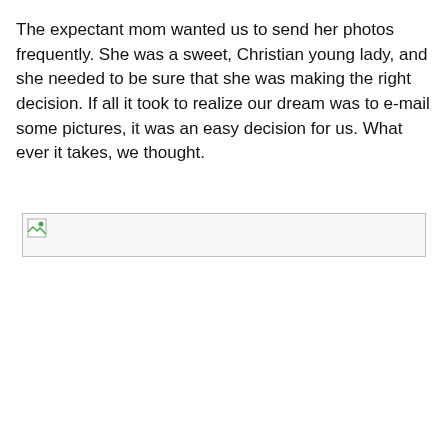The expectant mom wanted us to send her photos frequently. She was a sweet, Christian young lady, and she needed to be sure that she was making the right decision. If all it took to realize our dream was to e-mail some pictures, it was an easy decision for us. What ever it takes, we thought.
[Figure (photo): Broken/missing image placeholder shown as a small icon in a bordered rectangle]